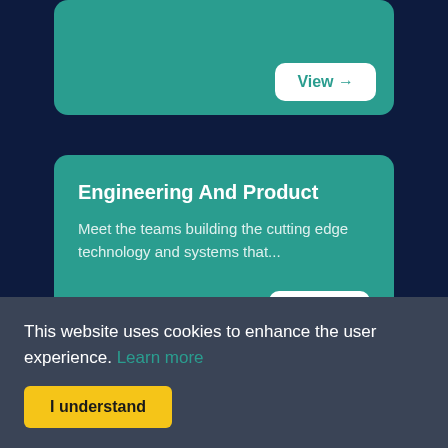[Figure (screenshot): Partial teal card at top with a View button]
Engineering And Product
Meet the teams building the cutting edge technology and systems that...
This website uses cookies to enhance the user experience. Learn more
I understand